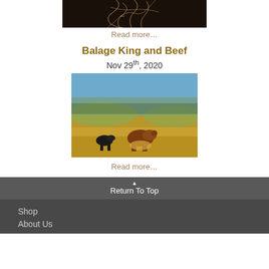[Figure (photo): Dark image showing roots of a plant against a black background with some text overlay]
Read more…
Balage King and Beef
Nov 29th, 2020
[Figure (photo): Photo of cattle grazing in an open field with trees and blue sky in background]
Read more…
▲ Return To Top
Shop
About Us